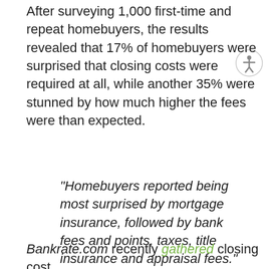After surveying 1,000 first-time and repeat homebuyers, the results revealed that 17% of homebuyers were surprised that closing costs were required at all, while another 35% were stunned by how much higher the fees were than expected.
“Homebuyers reported being most surprised by mortgage insurance, followed by bank fees and points, taxes, title insurance and appraisal fees.”
Bankrate.com recently gathered closing cost